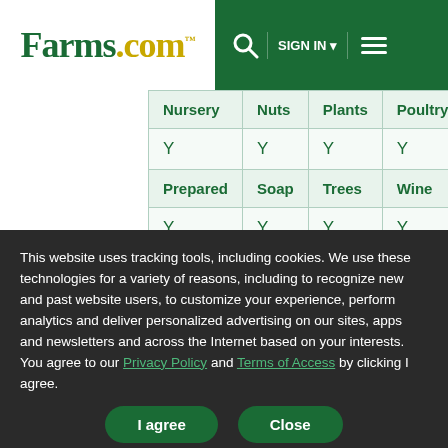Farms.com | SIGN IN | Menu
| Nursery | Nuts | Plants | Poultry |
| --- | --- | --- | --- |
| Y | Y | Y | Y |
| Prepared | Soap | Trees | Wine |
| Y | Y | Y | Y |
Beaverton Farmers' Market Est. 1999
Address: Beaverton, ON
This website uses tracking tools, including cookies. We use these technologies for a variety of reasons, including to recognize new and past website users, to customize your experience, perform analytics and deliver personalized advertising on our sites, apps and newsletters and across the Internet based on your interests. You agree to our Privacy Policy and Terms of Access by clicking I agree.